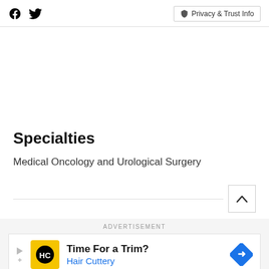Social icons (Facebook, Twitter) | Privacy & Trust Info
Specialties
Medical Oncology and Urological Surgery
ADVERTISEMENT
[Figure (infographic): Advertisement banner: Time For a Trim? Hair Cuttery — with Hair Cuttery logo (yellow circle with HC) and blue diamond arrow icon]